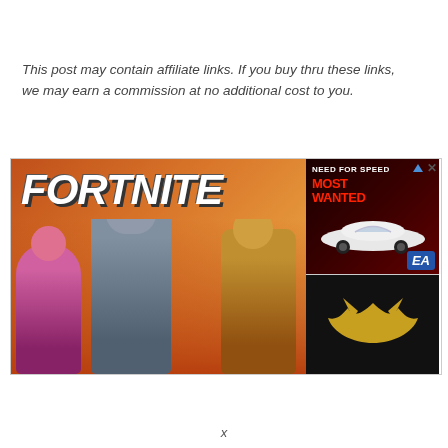This post may contain affiliate links. If you buy thru these links, we may earn a commission at no additional cost to you.
[Figure (illustration): Fortnite game promotional image showing the FORTNITE logo with three characters on an orange background]
[Figure (illustration): Need for Speed Most Wanted game cover showing a white sports car on a dark red city background with EA logo]
[Figure (illustration): Dark panel showing a Batman logo/silhouette on black background]